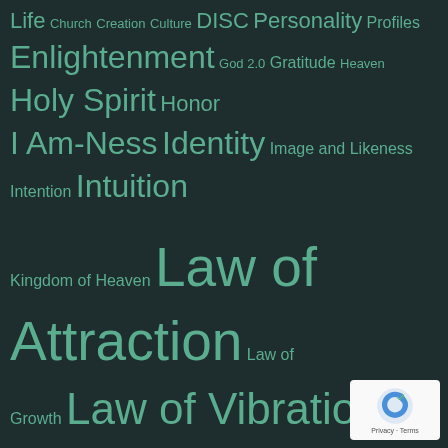[Figure (infographic): Tag cloud on dark teal/dark background with varying font sizes for spiritual, religious, and self-help topics. Terms include: Life, Church, Creation, Culture, DISC, Personality, Profiles, Enlightenment, God 2.0, Gratitude, Heaven, Holy Spirit, Honor, I Am-Ness, Identity, Image and Likeness, Intention, Intuition, Kingdom of Heaven, Law of Attraction, Law of Growth, Law of Vibration, Logic, Muscle Testing, New Age, Christianity, Perfection, Personal Journey, Preterism, Purpose, Radical Honesty, Revelation, Sanctification, Satan, Sin, Spiritual Growth, The Creative Process, The Secret, The Tree of Knowledge, Tithing, Toltec Wisdom, Universal Laws, Unpacking the Secret, Vision, Yin and Yang]